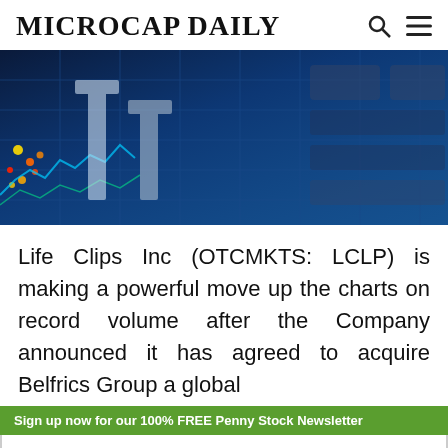MICROCAP DAILY
[Figure (photo): Financial stock market display with blue digital charts and trading data, with yellow/orange/red highlights on the left side]
Life Clips Inc (OTCMKTS: LCLP) is making a powerful move up the charts on record volume after the Company announced it has agreed to acquire Belfrics Group a global
Sign up now for our 100% FREE Penny Stock Newsletter
ENTER YOUR EMAIL HERE
SUBSCRIBE NOW!